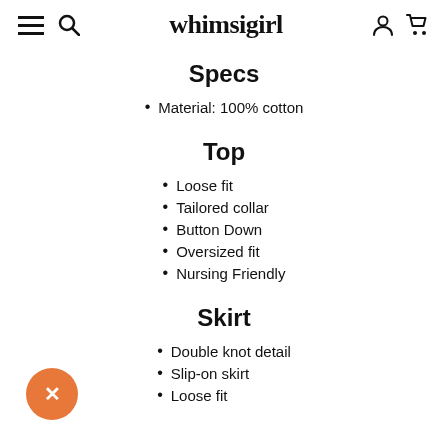whimsigirl
Specs
Material: 100% cotton
Top
Loose fit
Tailored collar
Button Down
Oversized fit
Nursing Friendly
Skirt
Double knot detail
Slip-on skirt
Loose fit